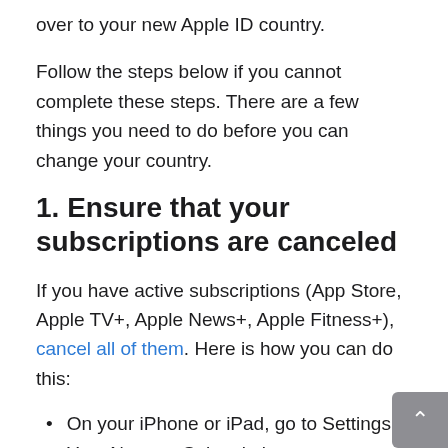over to your new Apple ID country.
Follow the steps below if you cannot complete these steps. There are a few things you need to do before you can change your country.
1. Ensure that your subscriptions are canceled
If you have active subscriptions (App Store, Apple TV+, Apple News+, Apple Fitness+), cancel all of them. Here is how you can do this:
On your iPhone or iPad, go to Settings > Your Name > Subscriptions.